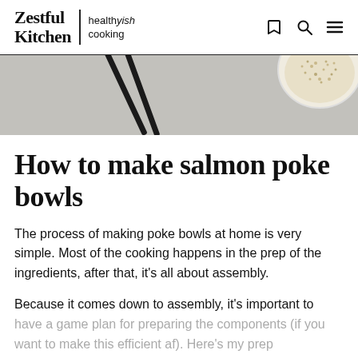Zestful Kitchen | healthyish cooking
[Figure (photo): Top-down food photography showing chopsticks and a bowl of sesame seeds on a grey surface]
How to make salmon poke bowls
The process of making poke bowls at home is very simple. Most of the cooking happens in the prep of the ingredients, after that, it's all about assembly.
Because it comes down to assembly, it's important to have a game plan for preparing the components (if you want to make this efficient af). Here's my prep